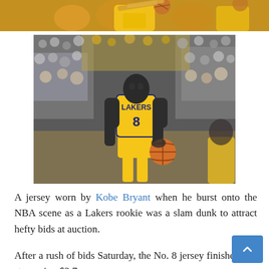[Figure (photo): Top strip showing a basketball player in a Lakers yellow jersey holding a ball above their head, cropped at top]
[Figure (photo): Kobe Bryant in a yellow Lakers #8 jersey holding a basketball, with a crowd in the background]
A jersey worn by Kobe Bryant when he burst onto the NBA scene as a Lakers rookie was a slam dunk to attract hefty bids at auction.
After a rush of bids Saturday, the No. 8 jersey finished at a staggering $2.7